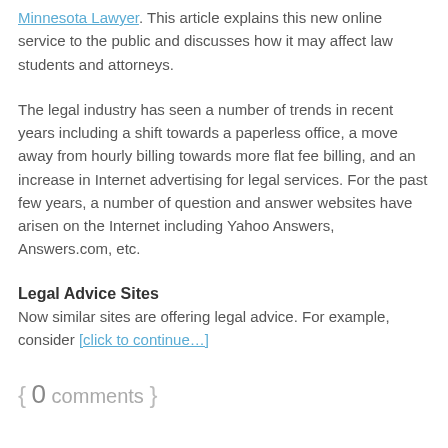Minnesota Lawyer. This article explains this new online service to the public and discusses how it may affect law students and attorneys.
The legal industry has seen a number of trends in recent years including a shift towards a paperless office, a move away from hourly billing towards more flat fee billing, and an increase in Internet advertising for legal services. For the past few years, a number of question and answer websites have arisen on the Internet including Yahoo Answers, Answers.com, etc.
Legal Advice Sites
Now similar sites are offering legal advice. For example, consider [click to continue…]
{ 0 comments }